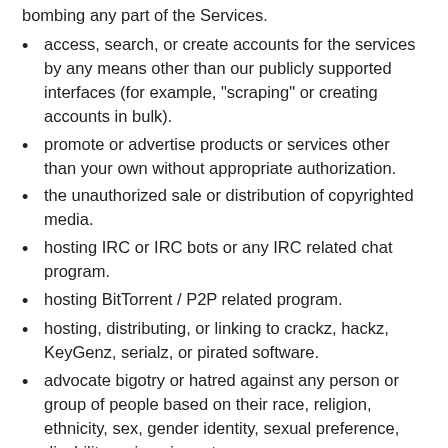bombing any part of the Services.
access, search, or create accounts for the services by any means other than our publicly supported interfaces (for example, "scraping" or creating accounts in bulk).
promote or advertise products or services other than your own without appropriate authorization.
the unauthorized sale or distribution of copyrighted media.
hosting IRC or IRC bots or any IRC related chat program.
hosting BitTorrent / P2P related program.
hosting, distributing, or linking to crackz, hackz, KeyGenz, serialz, or pirated software.
advocate bigotry or hatred against any person or group of people based on their race, religion, ethnicity, sex, gender identity, sexual preference, disability, or impairment.
violate the law in any way, including storing, publishing or sharing material that's fraudulent, defamatory, or misleading; or violate the privacy or infringe the rights of others.